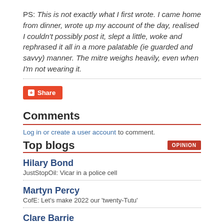PS: This is not exactly what I first wrote. I came home from dinner, wrote up my account of the day, realised I couldn't possibly post it, slept a little, woke and rephrased it all in a more palatable (ie guarded and savvy) manner. The mitre weighs heavily, even when I'm not wearing it.
[Figure (other): Share button - red rounded rectangle with plus icon and 'Share' label]
Comments
Log in or create a user account to comment.
Top blogs
Hilary Bond
JustStopOil: Vicar in a police cell
Martyn Percy
CofE: Let's make 2022 our 'twenty-Tutu'
Clare Barrie
In praise of common prayer
Rowan Williams